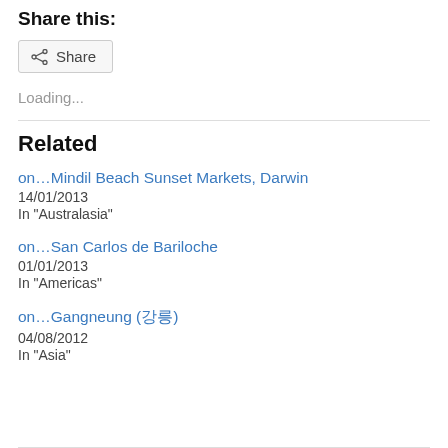Share this:
[Figure (other): Share button with icon]
Loading...
Related
on…Mindil Beach Sunset Markets, Darwin
14/01/2013
In "Australasia"
on…San Carlos de Bariloche
01/01/2013
In "Americas"
on…Gangneung (강릉)
04/08/2012
In "Asia"